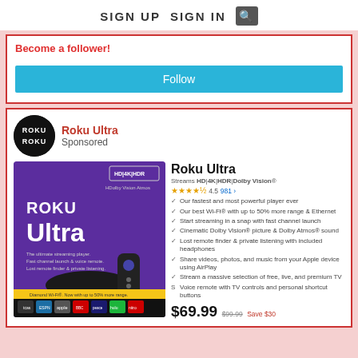SIGN UP   SIGN IN  🔍
Become a follower!
Follow
Roku Ultra
Sponsored
[Figure (photo): Roku Ultra product box showing purple packaging with Roku Ultra text, remote control, and streaming device]
Roku Ultra
Streams HD|4K|HDR|Dolby Vision®
★★★★½ 4.5  981
Our fastest and most powerful player ever
Our best Wi-Fi® with up to 50% more range & Ethernet
Start streaming in a snap with fast channel launch
Cinematic Dolby Vision® picture & Dolby Atmos® sound
Lost remote finder & private listening with included headphones
Share videos, photos, and music from your Apple device using AirPlay
Stream a massive selection of free, live, and premium TV
Voice remote with TV controls and personal shortcut buttons
$69.99  $99.99  Save $30